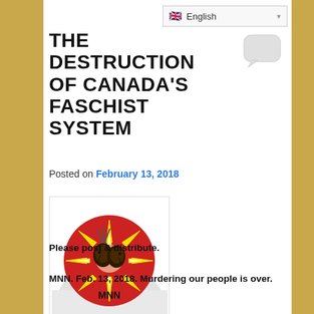English
THE DESTRUCTION OF CANADA'S FASCHIST SYSTEM
Posted on February 13, 2018
[Figure (logo): MNN logo: red circle with yellow sun rays and two Indigenous face profiles in the center, with 'MNN' text at bottom, over a faded forest treeline background]
Please post & distribute.
MNN. Feb. 13, 2018. Murdering our people is over.